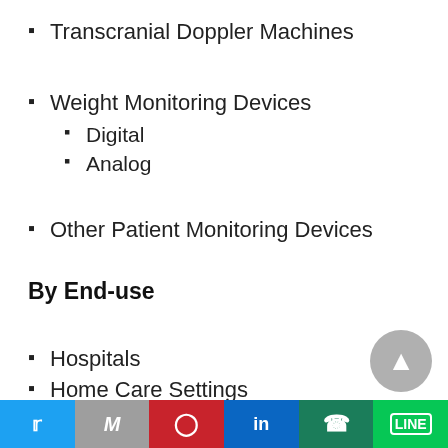Transcranial Doppler Machines
Weight Monitoring Devices
Digital
Analog
Other Patient Monitoring Devices
By End-use
Hospitals
Home Care Settings
Ambulatory Surgery Centers
Twitter | Gmail | Pinterest | LinkedIn | WhatsApp | Line